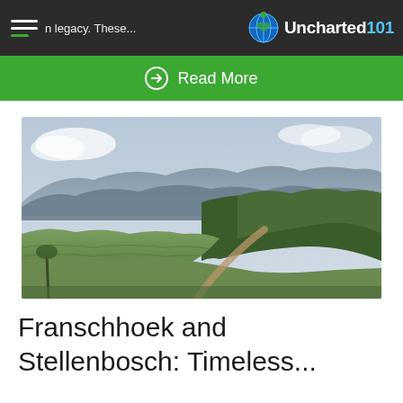Uncharted101
Read More
[Figure (photo): Landscape photograph showing rolling vineyard fields in the foreground with a dirt road winding through, dense forest-covered hills in the middle ground, and blue-grey mountains in the background under a partly cloudy sky — likely Franschhoek or Stellenbosch wine region, South Africa.]
Franschhoek and Stellenbosch: Timeless...